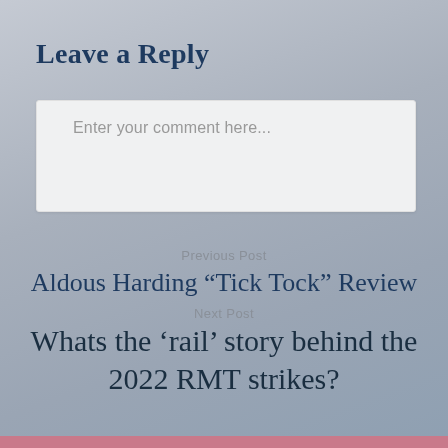Leave a Reply
Enter your comment here...
Previous Post
Aldous Harding “Tick Tock” Review
Next Post
Whats the ‘rail’ story behind the 2022 RMT strikes?